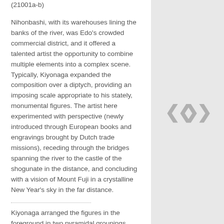(21001a-b)
Nihonbashi, with its warehouses lining the banks of the river, was Edo’s crowded commercial district, and it offered a talented artist the opportunity to combine multiple elements into a complex scene. Typically, Kiyonaga expanded the composition over a diptych, providing an imposing scale appropriate to his stately, monumental figures. The artist here experimented with perspective (newly introduced through European books and engravings brought by Dutch trade missions), receding through the bridges spanning the river to the castle of the shogunate in the distance, and concluding with a vision of Mount Fuji in a crystalline New Year’s sky in the far distance.
Kiyonaga arranged the figures in the foreground in two pyramidal groupings, each occupying one sheet of the diptych. On the left, a young woman in a green kimono carries a hat indicating that she has returned from a pilgrimage to the shrine at Enoshima; behind her is a married woman with her maid, who bears a branch of plum